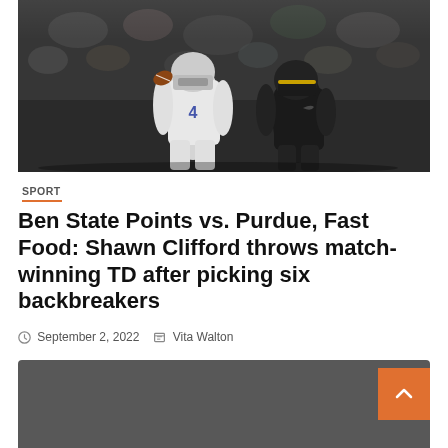[Figure (photo): Football game action photo showing two players — one in white Penn State uniform carrying the ball, another in black Purdue uniform attempting a tackle — during a night game.]
SPORT
Ben State Points vs. Purdue, Fast Food: Shawn Clifford throws match-winning TD after picking six backbreakers
September 2, 2022   Vita Walton
4 min read